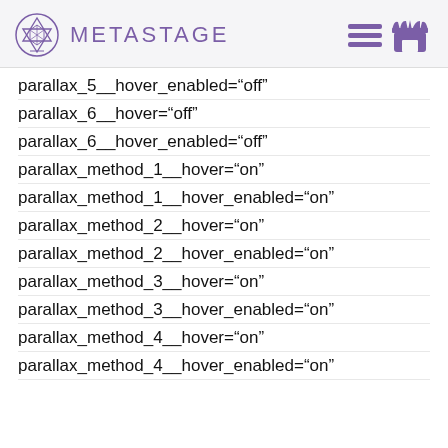METASTAGE
parallax_5__hover_enabled="off"
parallax_6__hover="off"
parallax_6__hover_enabled="off"
parallax_method_1__hover="on"
parallax_method_1__hover_enabled="on"
parallax_method_2__hover="on"
parallax_method_2__hover_enabled="on"
parallax_method_3__hover="on"
parallax_method_3__hover_enabled="on"
parallax_method_4__hover="on"
parallax_method_4__hover_enabled="on"